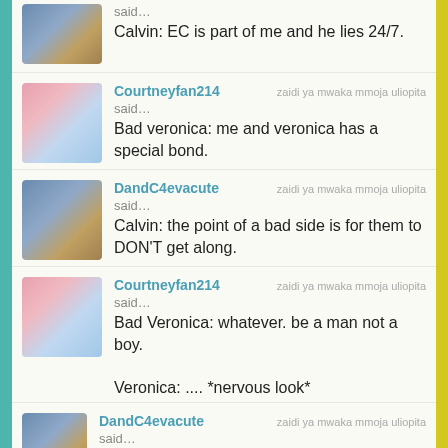said… Calvin: EC is part of me and he lies 24/7.
Courtneyfan214 zaidi ya mwaka mmoja uliopita said… Bad veronica: me and veronica has a special bond.
DandC4evacute zaidi ya mwaka mmoja uliopita said… Calvin: the point of a bad side is for them to DON'T get along.
Courtneyfan214 zaidi ya mwaka mmoja uliopita said… Bad Veronica: whatever. be a man not a boy.

Veronica: .... *nervous look*
DandC4evacute zaidi ya mwaka mmoja uliopita said…